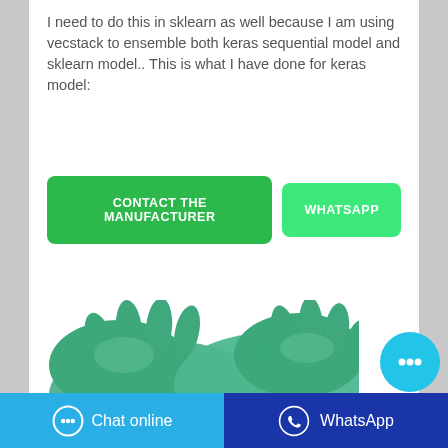I need to do this in sklearn as well because I am using vecstack to ensemble both keras sequential model and sklearn model.. This is what I have done for keras model:
[Figure (illustration): Green rubber/nitrile chemical-resistant gloves product image, two gloves overlapping, teal/green color, shown against white background.]
[Figure (infographic): Two CTA buttons: 'CONTACT THE MANUFACTURER' (dark green) and 'WHATSAPP' (bright green). Floating cyan chat bubble button on right side.]
[Figure (infographic): Bottom bar with two buttons: 'Chat online' (light blue with chat icon) and 'WhatsApp' (dark blue with WhatsApp icon).]